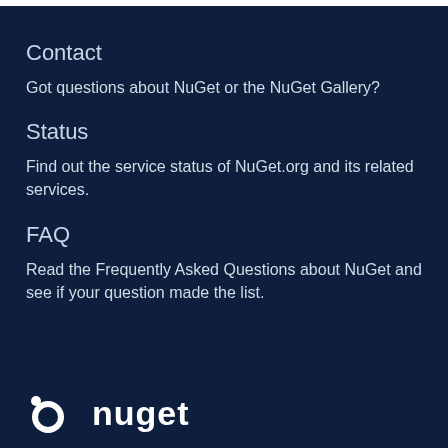Contact
Got questions about NuGet or the NuGet Gallery?
Status
Find out the service status of NuGet.org and its related services.
FAQ
Read the Frequently Asked Questions about NuGet and see if your question made the list.
[Figure (logo): NuGet logo with icon and text 'nuget']